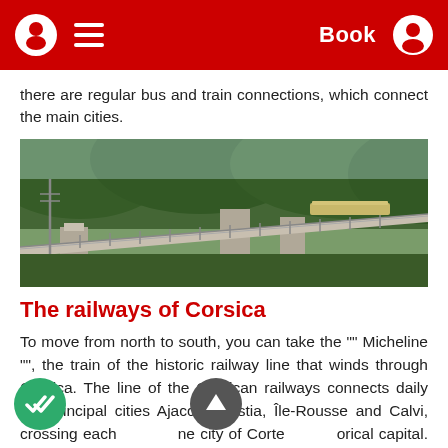Book
there are regular bus and train connections, which connect the main cities.
[Figure (photo): A train crossing a large stone and metal viaduct bridge surrounded by forested hills and mountains in Corsica.]
The railways of Corsica
To move from north to south, you can take the "" Micheline "", the train of the historic railway line that winds through Corsica. The line of the Corsican railways connects daily the principal cities Ajaccio, Bastia, Île-Rousse and Calvi, crossing each the city of Corte, historical capital. The trip by train makes you discover breathtaking landscapes